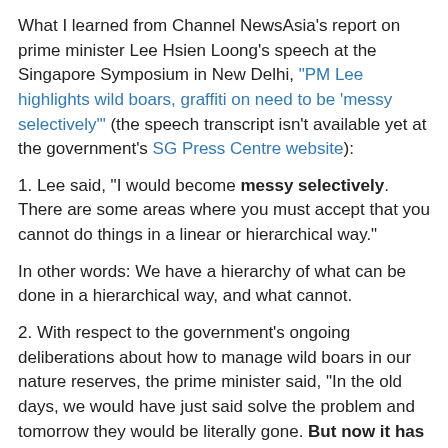What I learned from Channel NewsAsia's report on prime minister Lee Hsien Loong's speech at the Singapore Symposium in New Delhi, "PM Lee highlights wild boars, graffiti on need to be 'messy selectively'" (the speech transcript isn't available yet at the government's SG Press Centre website):
1. Lee said, "I would become messy selectively. There are some areas where you must accept that you cannot do things in a linear or hierarchical way."
In other words: We have a hierarchy of what can be done in a hierarchical way, and what cannot.
2. With respect to the government's ongoing deliberations about how to manage wild boars in our nature reserves, the prime minister said, "In the old days, we would have just said solve the problem and tomorrow they would be literally gone. But now it has been discussed."
I smell a new catchphrase for pacifying the masses: "But now it has been discussed!"